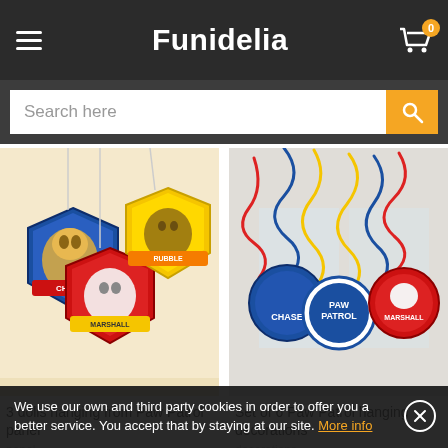Funidelia
Search here
[Figure (photo): 3 PAW Patrol character hanging badge decorations: Chase (blue), Marshall (red), Rubble (yellow), suspended from strings against a light background]
[Figure (photo): Set of 6 PAW Patrol hanging swirl decorations with Chase, PAW Patrol logo, and Marshall character circles in red, blue, and yellow swirls]
3 dolls hanging from Paw Patrol panel
Set of 6 Paw Patrol hanging decorations
We use our own and third party cookies in order to offer you a better service. You accept that by staying at our site. More info